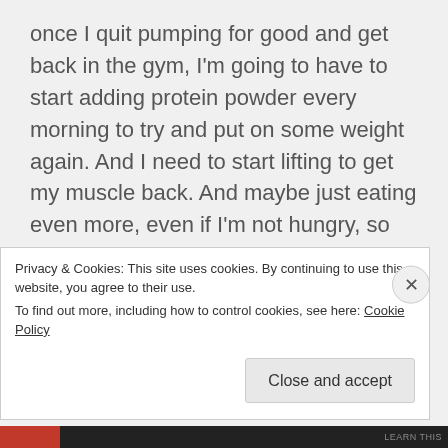once I quit pumping for good and get back in the gym, I'm going to have to start adding protein powder every morning to try and put on some weight again. And I need to start lifting to get my muscle back. And maybe just eating even more, even if I'm not hungry, so that I can pack in the calories.
I need to go work on my paper. I'm not feeling motivated at all. I think I'm just too frustrated today
Privacy & Cookies: This site uses cookies. By continuing to use this website, you agree to their use.
To find out more, including how to control cookies, see here: Cookie Policy